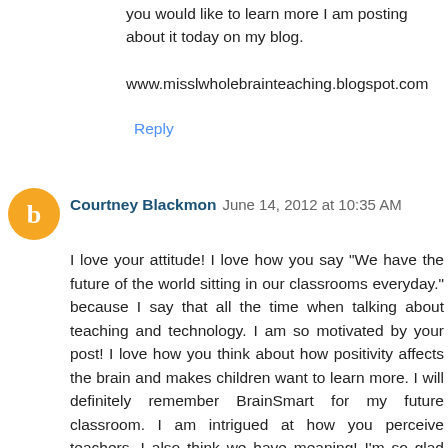you would like to learn more I am posting about it today on my blog.
www.misslwholebrainteaching.blogspot.com
Reply
[Figure (illustration): Orange circular blogger avatar icon with white 'b' logo]
Courtney Blackmon  June 14, 2012 at 10:35 AM
I love your attitude! I love how you say "We have the future of the world sitting in our classrooms everyday." because I say that all the time when talking about teaching and technology. I am so motivated by your post! I love how you think about how positivity affects the brain and makes children want to learn more. I will definitely remember BrainSmart for my future classroom. I am intrigued at how you perceive teachers. I also think we have meaning! I'm so glad that the children support each other and motivate one another if one is struggling. That is so heartwarming to hear because now all you hear is about kids bullying one another and committing crimes in school. All this positive energy really rubs off on me because I want that in my classroom and will do all that to create that atmosphere.